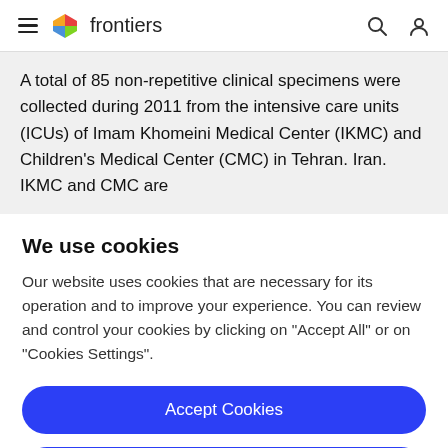frontiers
A total of 85 non-repetitive clinical specimens were collected during 2011 from the intensive care units (ICUs) of Imam Khomeini Medical Center (IKMC) and Children's Medical Center (CMC) in Tehran. Iran. IKMC and CMC are
We use cookies
Our website uses cookies that are necessary for its operation and to improve your experience. You can review and control your cookies by clicking on "Accept All" or on "Cookies Settings".
Accept Cookies
Cookies Settings